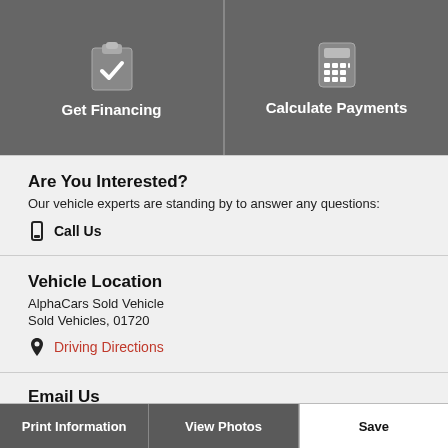[Figure (screenshot): Two dark grey buttons: 'Get Financing' with clipboard/check icon and 'Calculate Payments' with calculator icon]
Are You Interested?
Our vehicle experts are standing by to answer any questions:
Call Us
Vehicle Location
AlphaCars Sold Vehicle
Sold Vehicles, 01720
Driving Directions
Email Us
Print Information   View Photos   Save